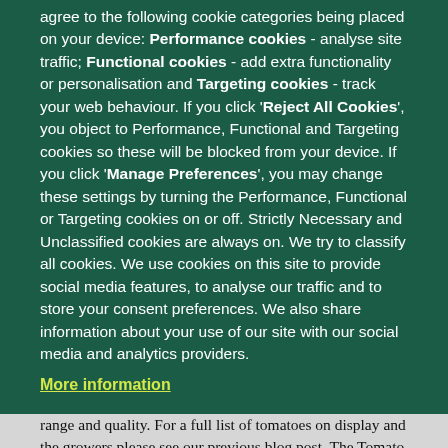agree to the following cookie categories being placed on your device: Performance cookies - analyse site traffic; Functional cookies - add extra functionality or personalisation and Targeting cookies - track your web behaviour. If you click 'Reject All Cookies', you object to Performance, Functional and Targeting cookies so these will be blocked from your device. If you click 'Manage Preferences', you may change these settings by turning the Performance, Functional or Targeting cookies on or off. Strictly Necessary and Unclassified cookies are always on. We try to classify all cookies. We use cookies on this site to provide social media features, to analyse our traffic and to store your consent preferences. We also share information about your use of our site with our social media and analytics providers.
More information
range and quality. For a full list of tomatoes on display and the growers please see our previous blog post. The Tomato Festival was launched on Saturday 18th August with two Tomato Tales lectures. Matthew Jebb, Director of the Gardens, spoke about the origins, botany, folklore and diversity of the remarkable fruit